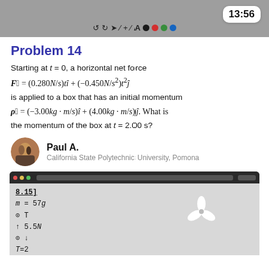[Figure (screenshot): Toolbar area with drawing tools and colored dots, time badge showing 13:56]
Problem 14
Starting at t = 0, a horizontal net force
is applied to a box that has an initial momentum
What is the momentum of the box at t = 2.00 s?
Paul A.
California State Polytechnic University, Pomona
[Figure (screenshot): Browser screenshot showing handwritten physics problem with 8.15], m=57g, theta T, up arrow 5.5N, theta down arrow, T=2 and a fan/propeller logo]